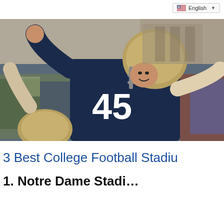English
[Figure (photo): A football player wearing jersey number 45 in a dark navy blue uniform and gold helmet, arms raised, celebrating on the field with a crowd visible in the background.]
3 Best College Football Stadiu
1. Notre Dame Stadi...